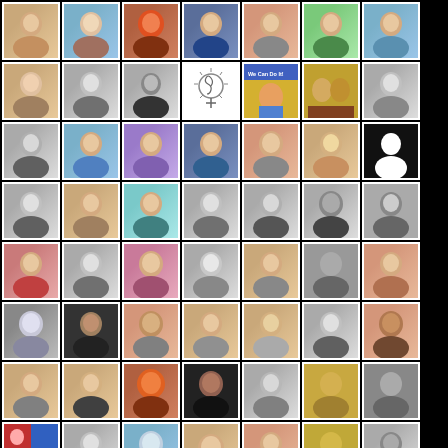[Figure (photo): A mosaic/collage grid of approximately 58 portrait/headshot photos arranged in 9 rows and 7 columns (with the last row having only 5 photos), set against a black background. Each photo shows a person or occasionally an illustration/logo. The photos are framed with white borders.]